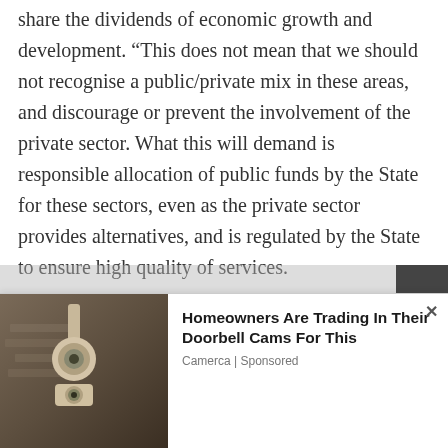share the dividends of economic growth and development. “This does not mean that we should not recognise a public/private mix in these areas, and discourage or prevent the involvement of the private sector. What this will demand is responsible allocation of public funds by the State for these sectors, even as the private sector provides alternatives, and is regulated by the State to ensure high quality of services.
Current global developments reflect the shift towards incorporating socio economic rights in Constitutions. The recommended UN...
[Figure (other): Advertisement banner: Homeowners Are Trading In Their Doorbell Cams For This. Camerca | Sponsored. Shows a security camera image on the left.]